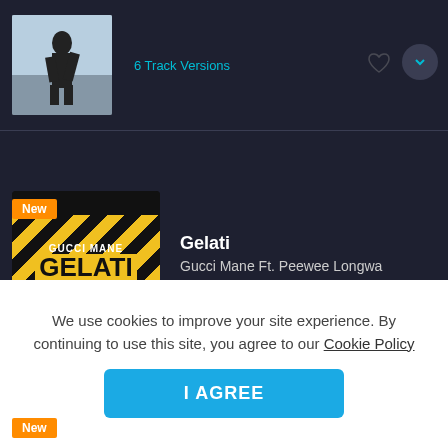[Figure (screenshot): Music streaming app screenshot showing album art for an artist (partially cropped at top)]
6 Track Versions
[Figure (screenshot): Album art for Gucci Mane - Gelati featuring hazard stripe design with New badge]
Gelati
Gucci Mane Ft. Peewee Longwa
6 Track Versions
[Figure (screenshot): Album art for Gucci Mane - Gelati (Dj Rukus 100-62 Transition) with New badge, partially cropped]
Gelati (Dj Rukus 100-62 Transition)
We use cookies to improve your site experience. By continuing to use this site, you agree to our Cookie Policy
I AGREE